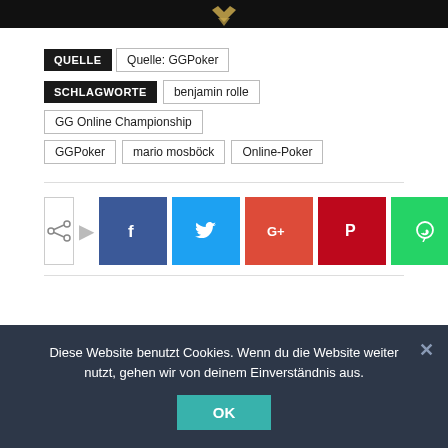[Figure (photo): Dark banner image with golden diamond/card suit icon on black background]
QUELLE  Quelle: GGPoker
SCHLAGWORTE  benjamin rolle  GG Online Championship  GGPoker  mario mosböck  Online-Poker
[Figure (infographic): Social share buttons: share icon box, Facebook, Twitter, Google+, Pinterest, WhatsApp]
Diese Website benutzt Cookies. Wenn du die Website weiter nutzt, gehen wir von deinem Einverständnis aus.
OK